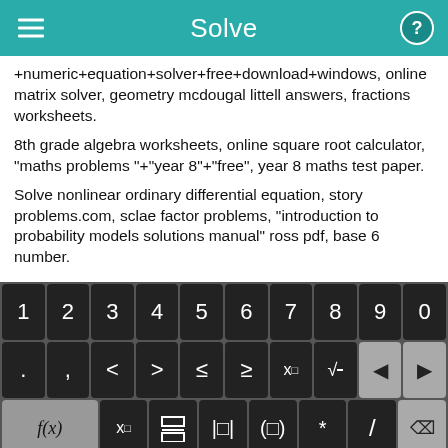Solve
+numeric+equation+solver+free+download+windows, online matrix solver, geometry mcdougal littell answers, fractions worksheets.
8th grade algebra worksheets, online square root calculator, "maths problems "+"year 8"+"free", year 8 maths test paper.
Solve nonlinear ordinary differential equation, story problems.com, sclae factor problems, "introduction to probability models solutions manual" ross pdf, base 6 number.
[Figure (screenshot): Mobile calculator keyboard interface with numeric keys 1-9,0, operator keys including less-than, greater-than, inequality symbols, exponent, square root, backspace, forward arrow, function f(x), subscript x, fraction, absolute value, parentheses, multiply, divide, delete, abc, rotate, x, y, equals, plus, minus, and green Solve! button.]